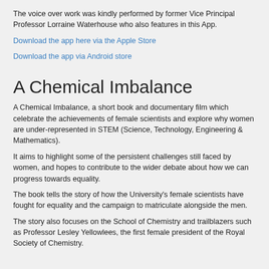The voice over work was kindly performed by former Vice Principal Professor Lorraine Waterhouse who also features in this App.
Download the app here via the Apple Store
Download the app via Android store
A Chemical Imbalance
A Chemical Imbalance, a short book and documentary film which celebrate the achievements of female scientists and explore why women are under-represented in STEM (Science, Technology, Engineering & Mathematics).
It aims to highlight some of the persistent challenges still faced by women, and hopes to contribute to the wider debate about how we can progress towards equality.
The book tells the story of how the University's female scientists have fought for equality and the campaign to matriculate alongside the men.
The story also focuses on the School of Chemistry and trailblazers such as Professor Lesley Yellowlees, the first female president of the Royal Society of Chemistry.